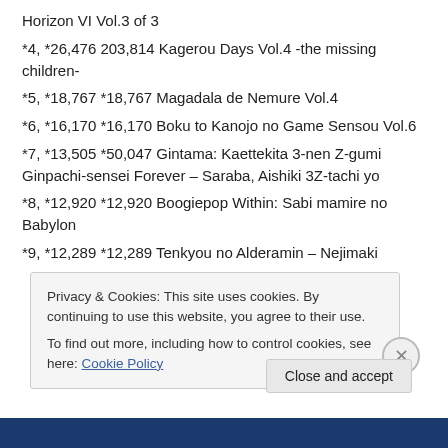Horizon VI Vol.3 of 3
*4, *26,476 203,814 Kagerou Days Vol.4 -the missing children-
*5, *18,767 *18,767 Magadala de Nemure Vol.4
*6, *16,170 *16,170 Boku to Kanojo no Game Sensou Vol.6
*7, *13,505 *50,047 Gintama: Kaettekita 3-nen Z-gumi Ginpachi-sensei Forever – Saraba, Aishiki 3Z-tachi yo
*8, *12,920 *12,920 Boogiepop Within: Sabi mamire no Babylon
*9, *12,289 *12,289 Tenkyou no Alderamin – Nejimaki
Privacy & Cookies: This site uses cookies. By continuing to use this website, you agree to their use.
To find out more, including how to control cookies, see here: Cookie Policy
Close and accept